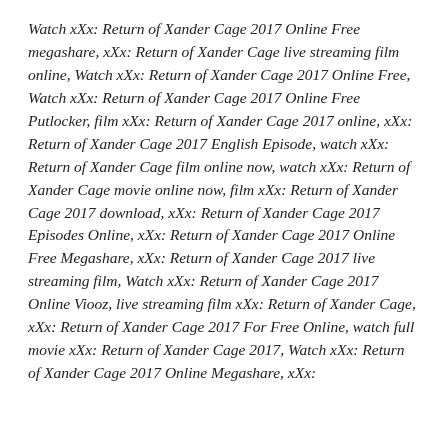Watch xXx: Return of Xander Cage 2017 Online Free megashare, xXx: Return of Xander Cage live streaming film online, Watch xXx: Return of Xander Cage 2017 Online Free, Watch xXx: Return of Xander Cage 2017 Online Free Putlocker, film xXx: Return of Xander Cage 2017 online, xXx: Return of Xander Cage 2017 English Episode, watch xXx: Return of Xander Cage film online now, watch xXx: Return of Xander Cage movie online now, film xXx: Return of Xander Cage 2017 download, xXx: Return of Xander Cage 2017 Episodes Online, xXx: Return of Xander Cage 2017 Online Free Megashare, xXx: Return of Xander Cage 2017 live streaming film, Watch xXx: Return of Xander Cage 2017 Online Viooz, live streaming film xXx: Return of Xander Cage, xXx: Return of Xander Cage 2017 For Free Online, watch full movie xXx: Return of Xander Cage 2017, Watch xXx: Return of Xander Cage 2017 Online Megashare, xXx: